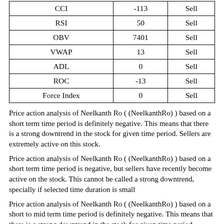|  |  |  |
| --- | --- | --- |
| CCI | -113 | Sell |
| RSI | 50 | Sell |
| OBV | 7401 | Sell |
| VWAP | 13 | Sell |
| ADL | 0 | Sell |
| ROC | -13 | Sell |
| Force Index | 0 | Sell |
Price action analysis of Neelkanth Ro ( (NeelkanthRo) ) based on a short term time period is definitely negative. This means that there is a strong downtrend in the stock for given time period. Sellers are extremely active on this stock.
Price action analysis of Neelkanth Ro ( (NeelkanthRo) ) based on a short term time period is negative, but sellers have recently become active on the stock. This cannot be called a strong downtrend, specially if selected time duration is small
Price action analysis of Neelkanth Ro ( (NeelkanthRo) ) based on a short to mid term time period is definitely negative. This means that there is a strong downtrend in the stock for given time period. Sellers are extremely active on this stock.
Price action analysis of Neelkanth Ro ( (NeelkanthRo) ) based